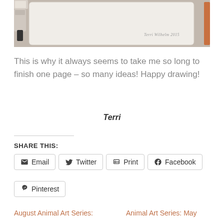[Figure (photo): Photo of a pen or drawing instrument over a sketchbook page with the signature 'Terri Wilhelm 2015' visible on the paper]
This is why it always seems to take me so long to finish one page – so many ideas! Happy drawing!
Terri
SHARE THIS:
Email
Twitter
Print
Facebook
Pinterest
August Animal Art Series:
Animal Art Series: May